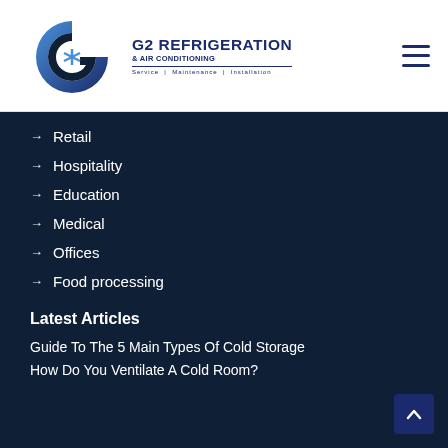[Figure (logo): G2 Refrigeration & Air Conditioning logo with snowflake icon, tagline: Service | Maintenance | Installation]
→ Retail
→ Hospitality
→ Education
→ Medical
→ Offices
→ Food processing
Latest Articles
Guide To The 5 Main Types Of Cold Storage
How Do You Ventilate A Cold Room?